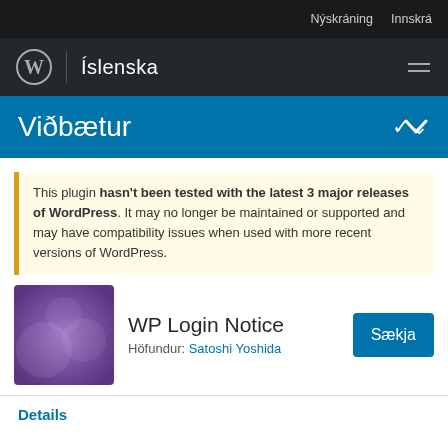Nýskráning  Innskrá
WP | Íslenska
Viðbætur
This plugin hasn't been tested with the latest 3 major releases of WordPress. It may no longer be maintained or supported and may have compatibility issues when used with more recent versions of WordPress.
[Figure (screenshot): Purple gradient plugin thumbnail for WP Login Notice]
WP Login Notice
Höfundur: Satoshi Yoshida
Details